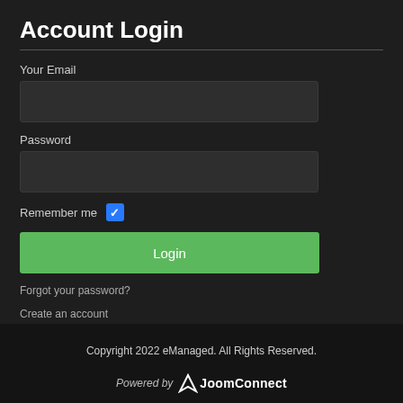Account Login
Your Email
Password
Remember me
Login
Forgot your password?
Create an account
Copyright 2022 eManaged. All Rights Reserved.
Powered by JoomConnect